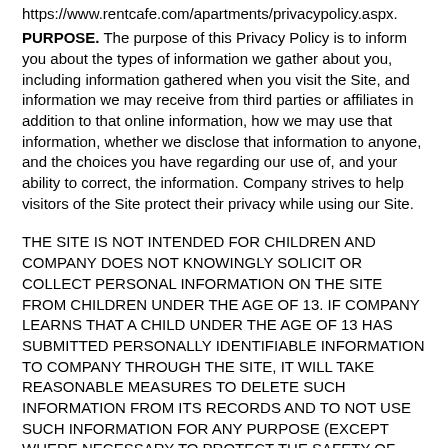https://www.rentcafe.com/apartments/privacypolicy.aspx.
PURPOSE. The purpose of this Privacy Policy is to inform you about the types of information we gather about you, including information gathered when you visit the Site, and information we may receive from third parties or affiliates in addition to that online information, how we may use that information, whether we disclose that information to anyone, and the choices you have regarding our use of, and your ability to correct, the information. Company strives to help visitors of the Site protect their privacy while using our Site.
THE SITE IS NOT INTENDED FOR CHILDREN AND COMPANY DOES NOT KNOWINGLY SOLICIT OR COLLECT PERSONAL INFORMATION ON THE SITE FROM CHILDREN UNDER THE AGE OF 13. IF COMPANY LEARNS THAT A CHILD UNDER THE AGE OF 13 HAS SUBMITTED PERSONALLY IDENTIFIABLE INFORMATION TO COMPANY THROUGH THE SITE, IT WILL TAKE REASONABLE MEASURES TO DELETE SUCH INFORMATION FROM ITS RECORDS AND TO NOT USE SUCH INFORMATION FOR ANY PURPOSE (EXCEPT WHERE NECESSARY TO PROTECT THE SAFETY OF THE CHILD OR OTHERS, AS REQUIRED BY LAW, OR AS MAY OTHERWISE